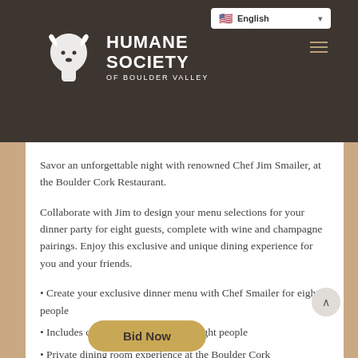Humane Society of Boulder Valley — English language selector — hamburger menu
[Figure (logo): Humane Society of Boulder Valley logo: white dog/cat silhouette with HUMANE SOCIETY OF BOULDER VALLEY text on dark brown background]
Savor an unforgettable night with renowned Chef Jim Smailer, at the Boulder Cork Restaurant.
Collaborate with Jim to design your menu selections for your dinner party for eight guests, complete with wine and champagne pairings. Enjoy this exclusive and unique dining experience for you and your friends.
Create your exclusive dinner menu with Chef Smailer for eight people
Includes champagne and wine for eight people
Private dining room experience at the Boulder Cork
Expires April 2021